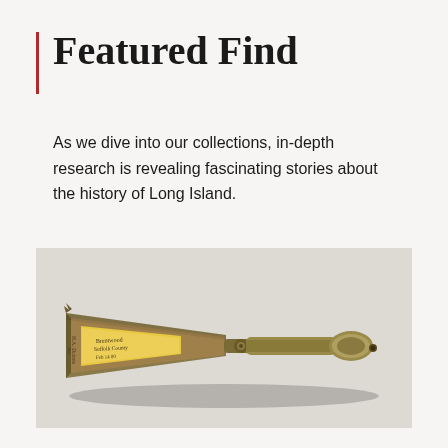Featured Find
As we dive into our collections, in-depth research is revealing fascinating stories about the history of Long Island.
[Figure (photo): A historical artifact — an old iron or metal hand tool (possibly a scraper or branding iron) with a wide flat triangular blade end bearing a handwritten paper label, and a decorative metal handle with a round knob end, photographed against a light beige/gray background.]